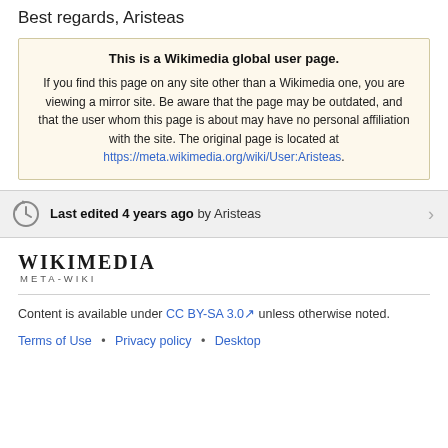Best regards, Aristeas
This is a Wikimedia global user page. If you find this page on any site other than a Wikimedia one, you are viewing a mirror site. Be aware that the page may be outdated, and that the user whom this page is about may have no personal affiliation with the site. The original page is located at https://meta.wikimedia.org/wiki/User:Aristeas.
Last edited 4 years ago by Aristeas
[Figure (logo): Wikimedia META-WIKI logo wordmark]
Content is available under CC BY-SA 3.0 unless otherwise noted.
Terms of Use • Privacy policy • Desktop